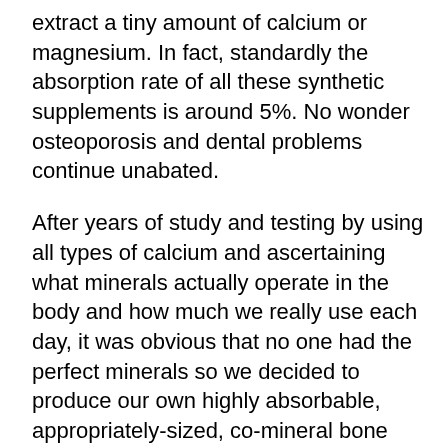extract a tiny amount of calcium or magnesium. In fact, standardly the absorption rate of all these synthetic supplements is around 5%. No wonder osteoporosis and dental problems continue unabated.
After years of study and testing by using all types of calcium and ascertaining what minerals actually operate in the body and how much we really use each day, it was obvious that no one had the perfect minerals so we decided to produce our own highly absorbable, appropriately-sized, co-mineral bone formula.
Mini-minerals are not man-made however. We have learned how to grow the minerals in a crystalline form and then we just harvest them. We create the environment, the ideal natural conditions make them